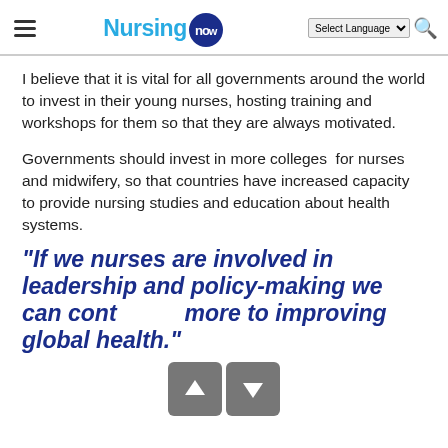Nursing Now — navigation header with language selector and search
I believe that it is vital for all governments around the world to invest in their young nurses, hosting training and workshops for them so that they are always motivated.
Governments should invest in more colleges  for nurses and midwifery, so that countries have increased capacity to provide nursing studies and education about health systems.
“If we nurses are involved in leadership and policy-making we can contribute more to improving global health.”